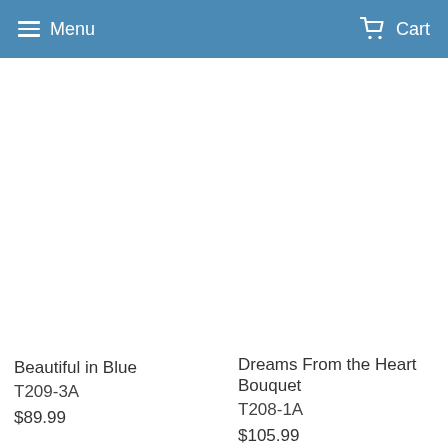Menu   Cart
Beautiful in Blue
T209-3A
$89.99
Dreams From the Heart Bouquet
T208-1A
$105.99